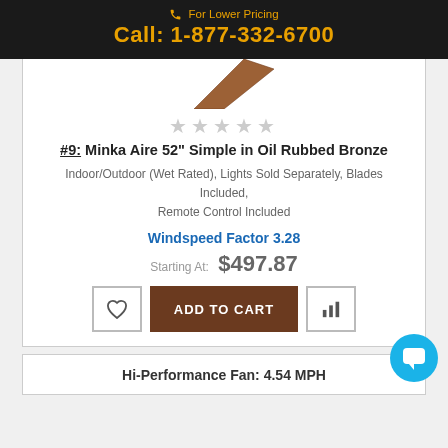For Lower Pricing Call: 1-877-332-6700
[Figure (photo): Brown fan blade angled diagonally, partially visible at top of product card]
★★★★★ (star rating, empty/grey)
#9: Minka Aire 52" Simple in Oil Rubbed Bronze
Indoor/Outdoor (Wet Rated), Lights Sold Separately, Blades Included, Remote Control Included
Windspeed Factor 3.28
Starting At: $497.87
ADD TO CART
Hi-Performance Fan: 4.54 MPH